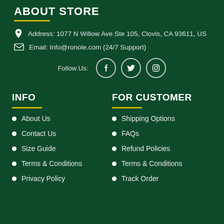ABOUT STORE
Address: 1077 N Willow Ave Ste 105, Clovis, CA 93611, US
Email: Info@ronole.com (24/7 Support)
Follow Us: [Facebook] [Twitter] [Pinterest]
INFO
About Us
Contact Us
Size Guide
Terms & Conditions
Privacy Policy
FOR CUSTOMER
Shipping Options
FAQs
Refund Policies
Terms & Conditions
Track Order